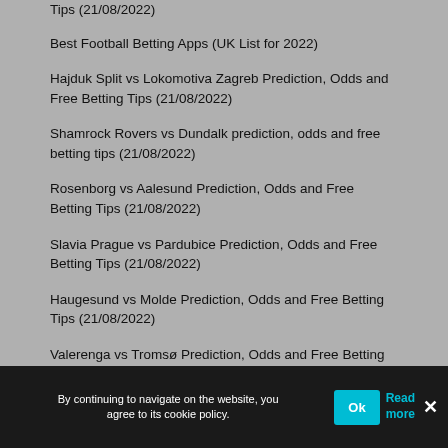Tips (21/08/2022)
Best Football Betting Apps (UK List for 2022)
Hajduk Split vs Lokomotiva Zagreb Prediction, Odds and Free Betting Tips (21/08/2022)
Shamrock Rovers vs Dundalk prediction, odds and free betting tips (21/08/2022)
Rosenborg vs Aalesund Prediction, Odds and Free Betting Tips (21/08/2022)
Slavia Prague vs Pardubice Prediction, Odds and Free Betting Tips (21/08/2022)
Haugesund vs Molde Prediction, Odds and Free Betting Tips (21/08/2022)
Valerenga vs Tromsø Prediction, Odds and Free Betting Tips (21/08/2022)
By continuing to navigate on the website, you agree to its cookie policy.